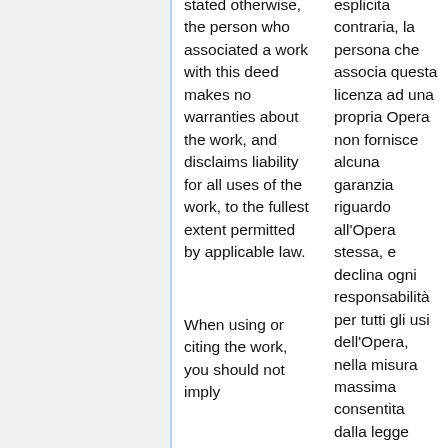stated otherwise, the person who associated a work with this deed makes no warranties about the work, and disclaims liability for all uses of the work, to the fullest extent permitted by applicable law.
esplicita contraria, la persona che associa questa licenza ad una propria Opera non fornisce alcuna garanzia riguardo all'Opera stessa, e declina ogni responsabilità per tutti gli usi dell'Opera, nella misura massima consentita dalla legge applicabile.
When using or citing the work, you should not imply
Quando si utilizza o si cita l'Opera, ciò non deve implicare alcun